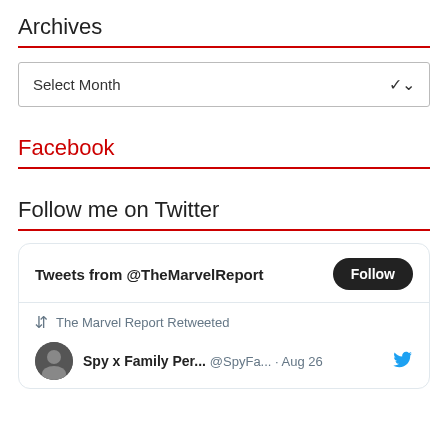Archives
Select Month
Facebook
Follow me on Twitter
[Figure (screenshot): Twitter widget showing 'Tweets from @TheMarvelReport' with a Follow button, a retweet notice 'The Marvel Report Retweeted', and a tweet from 'Spy x Family Per... @SpyFa... · Aug 26' with a Twitter bird icon.]